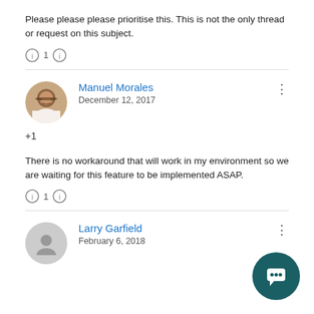Please please please prioritise this. This is not the only thread or request on this subject.
⓵ 1 ⓵
Manuel Morales
December 12, 2017
+1
There is no workaround that will work in my environment so we are waiting for this feature to be implemented ASAP.
⓵ 1 ⓵
Larry Garfield
February 6, 2018